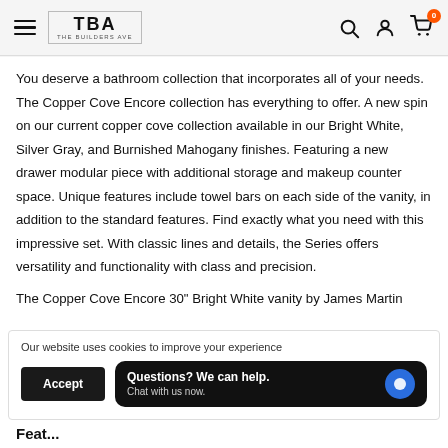TBA THE BUILDERS AVE
You deserve a bathroom collection that incorporates all of your needs. The Copper Cove Encore collection has everything to offer. A new spin on our current copper cove collection available in our Bright White, Silver Gray, and Burnished Mahogany finishes. Featuring a new drawer modular piece with additional storage and makeup counter space. Unique features include towel bars on each side of the vanity, in addition to the standard features. Find exactly what you need with this impressive set. With classic lines and details, the Series offers versatility and functionality with class and precision.
The Copper Cove Encore 30" Bright White vanity by James Martin
Our website uses cookies to improve your experience
Accept
Questions? We can help. Chat with us now.